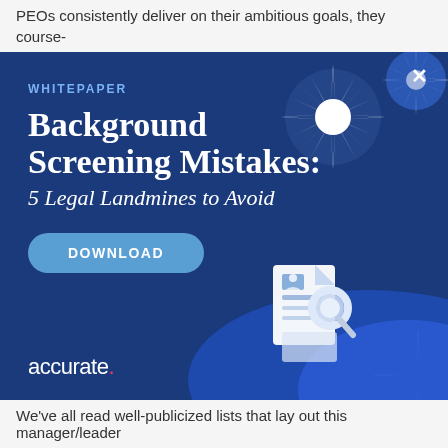PEOs consistently deliver on their ambitious goals, they course-...
[Figure (infographic): Whitepaper advertisement modal with dark blue background, decorative starbursts in top-right, document icon with magnifying glass in bottom-right, close button (X). Contains whitepaper label, title 'Background Screening Mistakes: 5 Legal Landmines to Avoid', a DOWNLOAD button, and the 'accurate.' logo.]
We've all read well-publicized lists that lay out this manager/leader